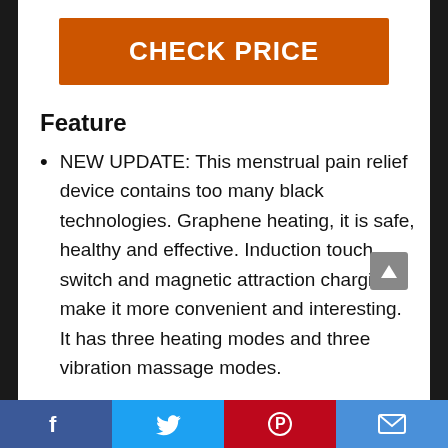CHECK PRICE
Feature
NEW UPDATE: This menstrual pain relief device contains too many black technologies. Graphene heating, it is safe, healthy and effective. Induction touch switch and magnetic attraction charging make it more convenient and interesting. It has three heating modes and three vibration massage modes.
Facebook | Twitter | Pinterest | Email